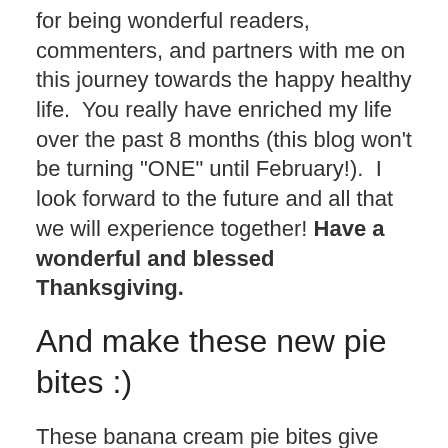for being wonderful readers, commenters, and partners with me on this journey towards the happy healthy life.  You really have enriched my life over the past 8 months (this blog won't be turning "ONE" until February!).  I look forward to the future and all that we will experience together! Have a wonderful and blessed Thanksgiving.
And make these new pie bites :)
These banana cream pie bites give the white chocolate pumpkin pie ones a run for their money.  I think I might actually prefer the banana ones!! They are decadently delicious